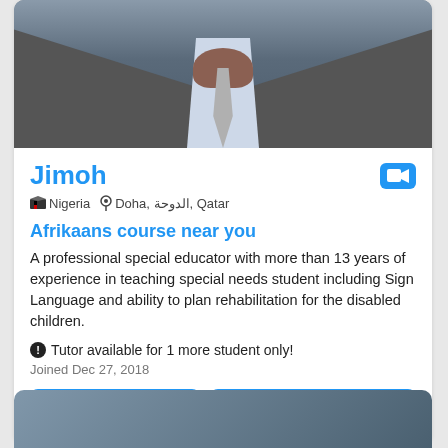[Figure (photo): Profile photo of tutor Jimoh showing upper body in suit jacket with checkered shirt and tie]
Jimoh
Nigeria  Doha, الدوحة, Qatar
Afrikaans course near you
A professional special educator with more than 13 years of experience in teaching special needs student including Sign Language and ability to plan rehabilitation for the disabled children.
Tutor available for 1 more student only!
Joined Dec 27, 2018
QAR 150/hour  Contact now